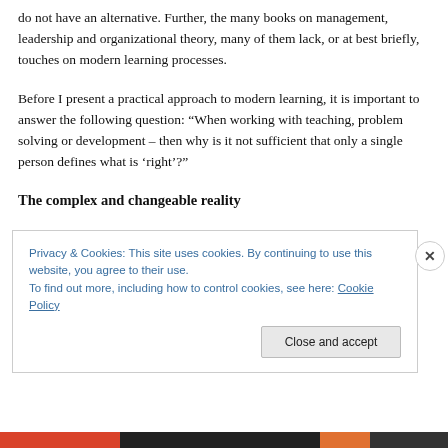do not have an alternative. Further, the many books on management, leadership and organizational theory, many of them lack, or at best briefly, touches on modern learning processes.
Before I present a practical approach to modern learning, it is important to answer the following question: “When working with teaching, problem solving or development – then why is it not sufficient that only a single person defines what is ‘right’?”
The complex and changeable reality
Privacy & Cookies: This site uses cookies. By continuing to use this website, you agree to their use.
To find out more, including how to control cookies, see here: Cookie Policy